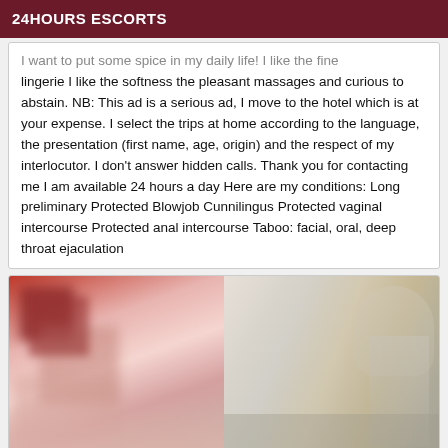24HOURS ESCORTS
I want to put some spice in my daily life! I like the fine lingerie I like the softness the pleasant massages and curious to abstain. NB: This ad is a serious ad, I move to the hotel which is at your expense. I select the trips at home according to the language, the presentation (first name, age, origin) and the respect of my interlocutor. I don't answer hidden calls. Thank you for contacting me I am available 24 hours a day Here are my conditions: Long preliminary Protected Blowjob Cunnilingus Protected vaginal intercourse Protected anal intercourse Taboo: facial, oral, deep throat ejaculation
[Figure (photo): Two partially visible blurred/obscured photos of a person]